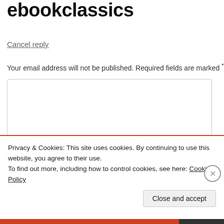ebookclassics
Cancel reply
Your email address will not be published. Required fields are marked *
[Figure (screenshot): Empty comment textarea input box with rounded border]
[Figure (screenshot): Empty text input field (Name field partially visible)]
Privacy & Cookies: This site uses cookies. By continuing to use this website, you agree to their use. To find out more, including how to control cookies, see here: Cookie Policy
Close and accept